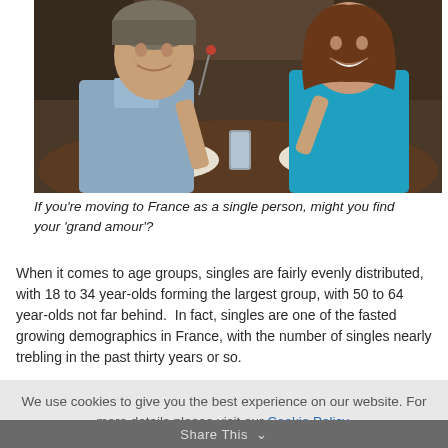[Figure (photo): A man in a grey-blue shirt and a woman in a teal top dining together at a restaurant, smiling at each other. They have plates of salad and glasses of water in front of them.]
If you're moving to France as a single person, might you find your 'grand amour'?
When it comes to age groups, singles are fairly evenly distributed, with 18 to 34 year-olds forming the largest group, with 50 to 64 year-olds not far behind.  In fact, singles are one of the fasted growing demographics in France, with the number of singles nearly trebling in the past thirty years or so.
We use cookies to give you the best experience on our website. For more details please visit our Cookie Policy.
Accept
Share This